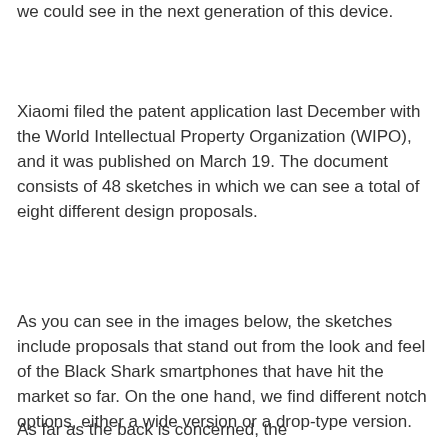we could see in the next generation of this device.
Xiaomi filed the patent application last December with the World Intellectual Property Organization (WIPO), and it was published on March 19. The document consists of 48 sketches in which we can see a total of eight different design proposals.
As you can see in the images below, the sketches include proposals that stand out from the look and feel of the Black Shark smartphones that have hit the market so far. On the one hand, we find different notch options, either a wide version or a drop-type version.
As far as the back is concerned, the